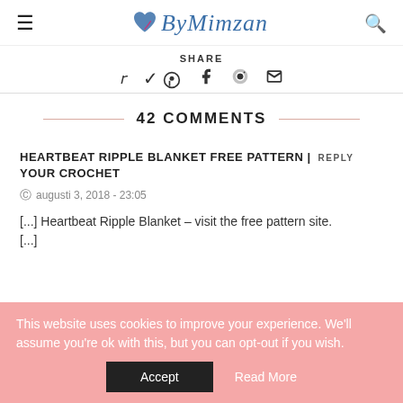ByMimzan
SHARE
42 COMMENTS
HEARTBEAT RIPPLE BLANKET FREE PATTERN | YOUR CROCHET
augusti 3, 2018 - 23:05
[...] Heartbeat Ripple Blanket – visit the free pattern site. [...]
This website uses cookies to improve your experience. We'll assume you're ok with this, but you can opt-out if you wish. Accept Read More